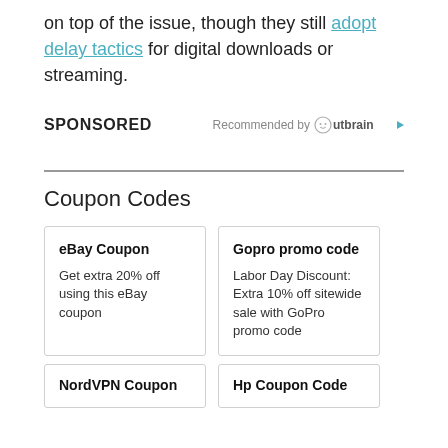on top of the issue, though they still adopt delay tactics for digital downloads or streaming.
SPONSORED
Recommended by Outbrain
Coupon Codes
eBay Coupon
Get extra 20% off using this eBay coupon
Gopro promo code
Labor Day Discount: Extra 10% off sitewide sale with GoPro promo code
NordVPN Coupon
Hp Coupon Code